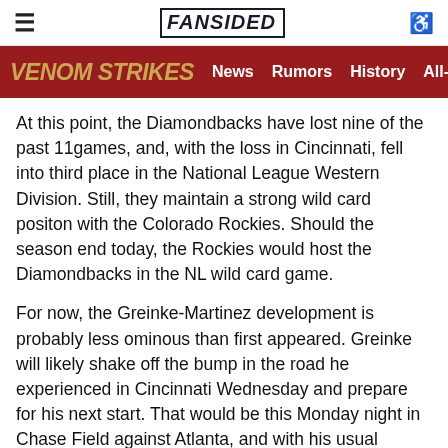≡  FANSIDED  ♿
VENOM STRIKES  News  Rumors  History  All-Tim
At this point, the Diamondbacks have lost nine of the past 11games, and, with the loss in Cincinnati, fell into third place in the National League Western Division. Still, they maintain a strong wild card positon with the Colorado Rockies. Should the season end today, the Rockies would host the Diamondbacks in the NL wild card game.
For now, the Greinke-Martinez development is probably less ominous than first appeared. Greinke will likely shake off the bump in the road he experienced in Cincinnati Wednesday and prepare for his next start. That would be this Monday night in Chase Field against Atlanta, and with his usual fervent preparation.
After Wednesday's game, Lovullo told mlb.com that Greinke, despite a high pitch count, accomplished a pitcher's essential task. That would be keeping his team in a given game.